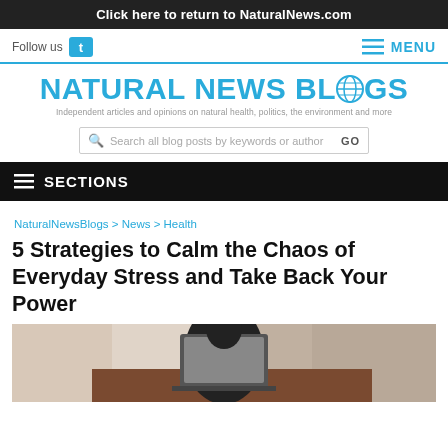Click here to return to NaturalNews.com
Follow us  MENU
[Figure (logo): Natural News Blogs logo with tagline: Independent articles and opinions on natural health, politics, the environment and more]
Search all blog posts by keywords or author  GO
SECTIONS
NaturalNewsBlogs > News > Health
5 Strategies to Calm the Chaos of Everyday Stress and Take Back Your Power
[Figure (photo): Person sitting at a desk with hands clasped, in front of a laptop, viewed from above]